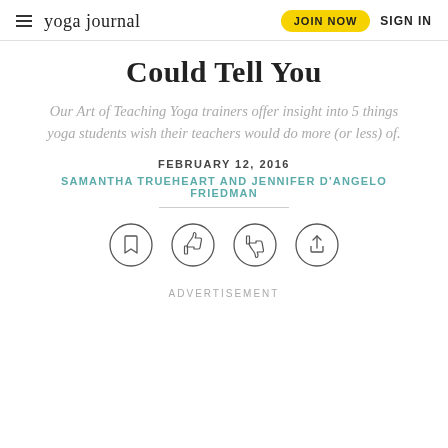yoga journal | JOIN NOW | SIGN IN
Could Tell You
Our Art of Teaching Yoga trainers offer insight into 5 things yoga students wish their teachers would do more (or less) of.
FEBRUARY 12, 2016
SAMANTHA TRUEHEART AND JENNIFER D'ANGELO FRIEDMAN
[Figure (infographic): Four circular icon buttons: bookmark, thumbs up, thumbs down, share]
ADVERTISEMENT